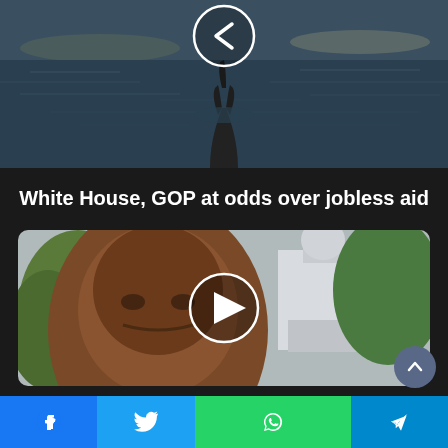[Figure (photo): A hand reaching out of dark ocean water, visible navigation arrow (back/left chevron) in a circle overlay]
White House, GOP at odds over jobless aid
[Figure (photo): Civil rights icon John Lewis, an elderly Black man, photographed outdoors with the US Capitol building visible in background and green trees, play button arrow circle overlay]
Civil rights icon John Lewis remembered in his hometown
Facebook  Twitter  WhatsApp  Telegram share buttons